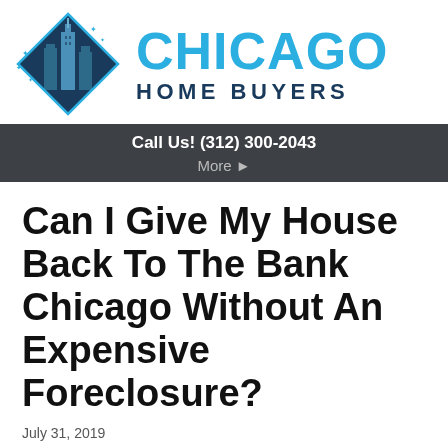[Figure (logo): Chicago Home Buyers logo with diamond-shaped icon showing city skyline and stars, next to the text CHICAGO HOME BUYERS]
Call Us! (312) 300-2043
More ▸
Can I Give My House Back To The Bank Chicago Without An Expensive Foreclosure?
July 31, 2019